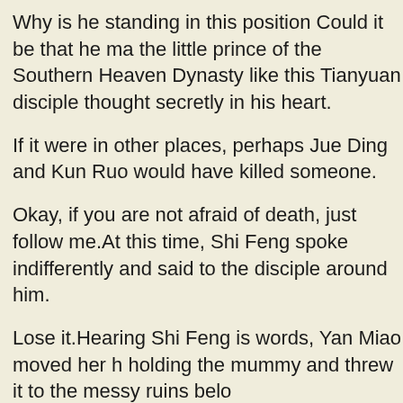Why is he standing in this position Could it be that he ma the little prince of the Southern Heaven Dynasty like this Tianyuan disciple thought secretly in his heart.
If it were in other places, perhaps Jue Ding and Kun Ruo would have killed someone.
Okay, if you are not afraid of death, just follow me.At this time, Shi Feng spoke indifferently and said to the disciple around him.
Lose it.Hearing Shi Feng is words, Yan Miao moved her h holding the mummy and threw it to the messy ruins belo
His third divine eye, of course, also does lemon water decrease blood sugar knew it When the flame figure was flying, although it did not seem slow, it was indeed a lot worse than the speed of Shi Feng and the three of them breaking through the air.